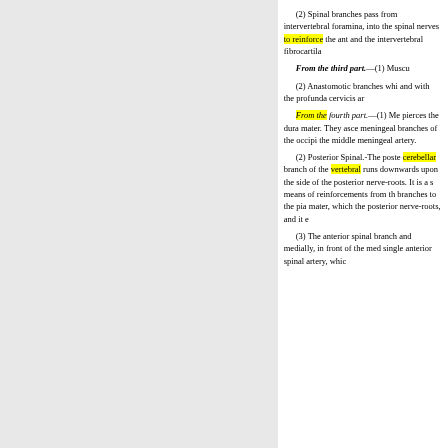(2) Spinal branches pass from intervertebral foramina, into the spinal nerves to reinforce the ant and the intervertebral fibrocartila
From the third part.—(1) Muscu
(2) Anastomotic branches whi and with the profunda cervicis ar
From the fourth part.—(1) Me pierces the dura mater. They asce meningeal branches of the occipi the middle meningeal artery.
(2) Posterior Spinal.-The poste cerebellar branch of the vertebral runs downwards upon the side of the posterior nerve-roots. It is a s means of reinforcements from th branches to the pia mater, which the posterior nerve-roots, and it e
(3) The anterior spinal branch and medially, in front of the med single anterior spinal artery, whic